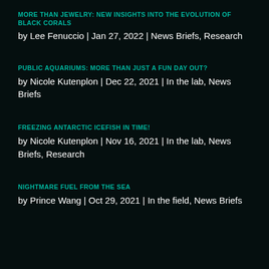MORE THAN JEWELRY: NEW INSIGHTS INTO THE EVOLUTION OF BLACK CORALS
by Lee Fenuccio | Jan 27, 2022 | News Briefs, Research
PUBLIC AQUARIUMS: MORE THAN JUST A FUN DAY OUT?
by Nicole Kutenplon | Dec 22, 2021 | In the lab, News Briefs
FREEZING ANTARCTIC ICEFISH IN TIME!
by Nicole Kutenplon | Nov 16, 2021 | In the lab, News Briefs, Research
NIGHTMARE FUEL FROM THE SEA
by Prince Wang | Oct 29, 2021 | In the field, News Briefs